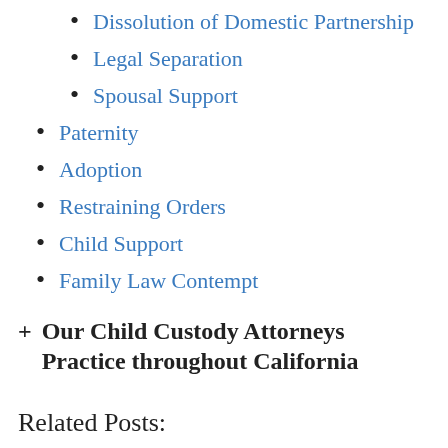Dissolution of Domestic Partnership
Legal Separation
Spousal Support
Paternity
Adoption
Restraining Orders
Child Support
Family Law Contempt
+ Our Child Custody Attorneys Practice throughout California
Related Posts: